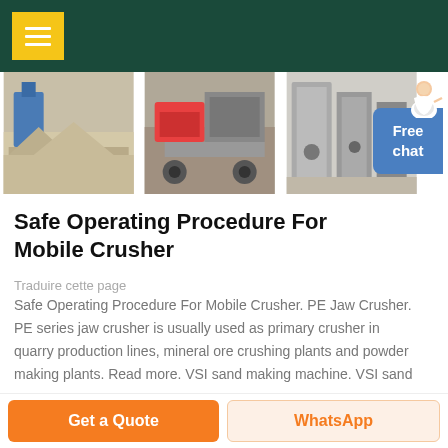[Figure (photo): Three photos of mobile crusher and quarry equipment in a horizontal strip]
Safe Operating Procedure For Mobile Crusher
Traduire cette page
Safe Operating Procedure For Mobile Crusher. PE Jaw Crusher. PE series jaw crusher is usually used as primary crusher in quarry production lines, mineral ore crushing plants and powder making plants. Read more. VSI sand making machine. VSI sand making machine that OMC developed sets